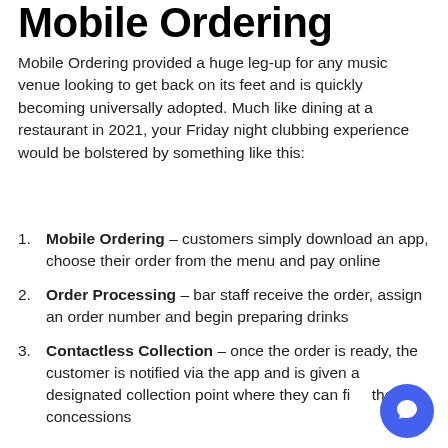Mobile Ordering
Mobile Ordering provided a huge leg-up for any music venue looking to get back on its feet and is quickly becoming universally adopted. Much like dining at a restaurant in 2021, your Friday night clubbing experience would be bolstered by something like this:
Mobile Ordering – customers simply download an app, choose their order from the menu and pay online
Order Processing – bar staff receive the order, assign an order number and begin preparing drinks
Contactless Collection – once the order is ready, the customer is notified via the app and is given a designated collection point where they can find their concessions